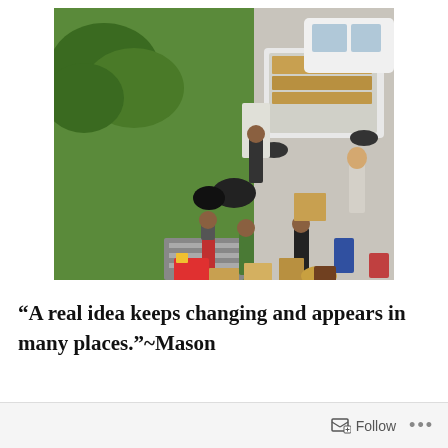[Figure (photo): Aerial view of people moving household items and furniture onto a white pickup truck parked on a street, with boxes and belongings scattered on the grass and sidewalk.]
“A real idea keeps changing and appears in many places.”~Mason
Follow ...